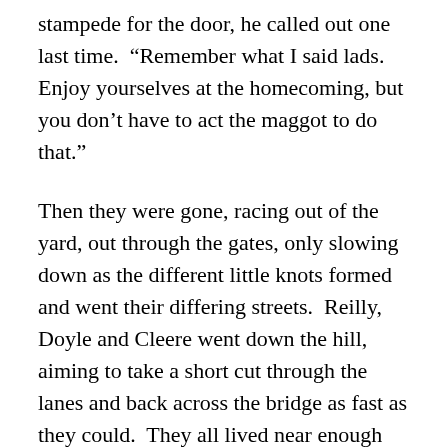stampede for the door, he called out one last time.  “Remember what I said lads.  Enjoy yourselves at the homecoming, but you don’t have to act the maggot to do that.”
Then they were gone, racing out of the yard, out through the gates, only slowing down as the different little knots formed and went their differing streets.  Reilly, Doyle and Cleere went down the hill, aiming to take a short cut through the lanes and back across the bridge as fast as they could.  They all lived near enough the railway station.  They could be there, at the very start of the homecoming.
“It’s not every day you get to see the McCarthy Cup up close,” piped up Brennan, skipping